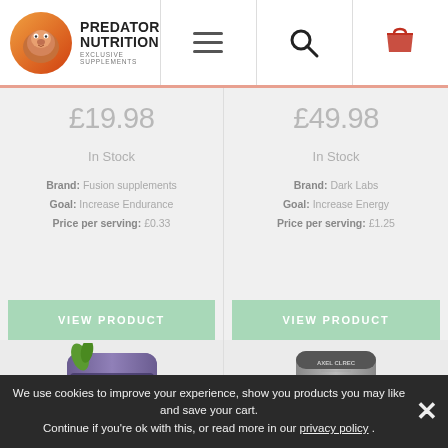[Figure (logo): Predator Nutrition exclusive supplements logo with orange gorilla icon]
£19.98
In Stock
Brand: Fusion supplements
Goal: Increase Endurance
Price per serving: £0.33
VIEW PRODUCT
£49.98
In Stock
Brand: Dark Labs
Goal: Increase Energy
Price per serving: £1.25
VIEW PRODUCT
[Figure (photo): TOTAL WAR pre-workout supplement container, purple label with lime green accent]
[Figure (photo): HYDRAULIC pre-workout supplement container, dark label]
We use cookies to improve your experience, show you products you may like and save your cart.
Continue if you're ok with this, or read more in our privacy policy .